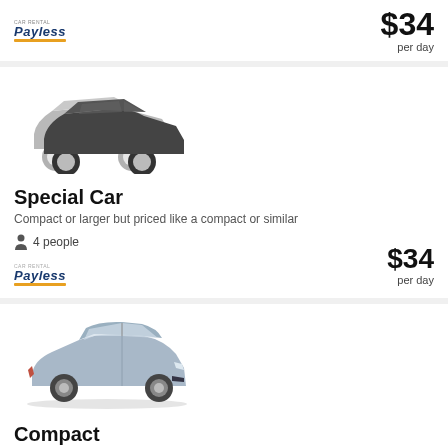[Figure (other): Partial top card showing Payless logo and price $34 per day]
[Figure (illustration): Silhouette of a compact/special car (dark gray), two overlapping car outlines]
Special Car
Compact or larger but priced like a compact or similar
4 people
[Figure (logo): Payless Car Rental logo]
$34 per day
[Figure (photo): Photo of a silver/blue Hyundai Accent compact car]
Compact
Hyundai Accent or similar
5 people
[Figure (logo): Payless Car Rental logo]
$34 per day
[Figure (photo): Partial view of a third car listing at the bottom of the page]